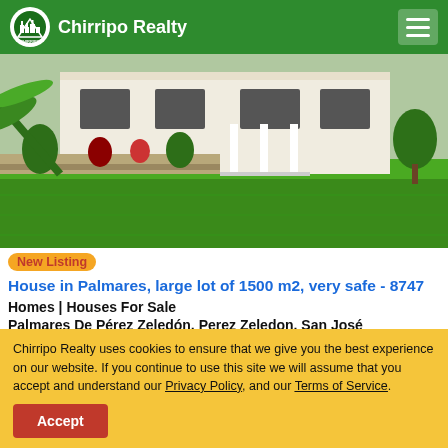Chirripo Realty
[Figure (photo): Exterior photo of a white house with a large green lawn in Palmares, Costa Rica]
New Listing House in Palmares, large lot of 1500 m2, very safe - 8747
Homes | Houses For Sale
Palmares De Pérez Zeledón, Perez Zeledon, San José
Land Size: 1,500 m2 (16,145 Sq.Ft.)
Chirripo Realty uses cookies to ensure that we give you the best experience on our website. If you continue to use this site we will assume that you accept and understand our Privacy Policy, and our Terms of Service.